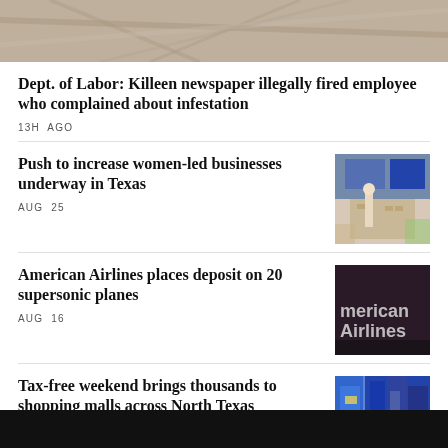[Figure (photo): Top banner image showing a textured sandy/earthy surface with lines]
Dept. of Labor: Killeen newspaper illegally fired employee who complained about infestation
13H AGO
Push to increase women-led businesses underway in Texas
AUG 25
[Figure (photo): Woman speaking at a podium in a conference room with blue panels]
American Airlines places deposit on 20 supersonic planes
AUG 16
[Figure (photo): American Airlines sign in dark background with silver lettering]
Tax-free weekend brings thousands to shopping malls across North Texas
[Figure (photo): Shopping mall interior with colorful displays and clothing]